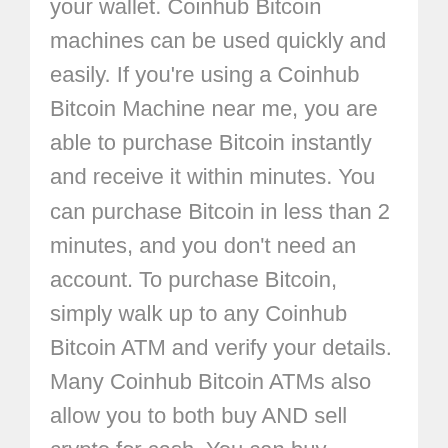your wallet. Coinhub Bitcoin machines can be used quickly and easily. If you're using a Coinhub Bitcoin Machine near me, you are able to purchase Bitcoin instantly and receive it within minutes. You can purchase Bitcoin in less than 2 minutes, and you don't need an account. To purchase Bitcoin, simply walk up to any Coinhub Bitcoin ATM and verify your details. Many Coinhub Bitcoin ATMs also allow you to both buy AND sell crypto for cash. You can buy Bitcoin using one our Bitcoin ATMs. First, locate the nearest Bitcoin ATM in your area by visiting our Coinhub Bitcoin ATM Locator. Walk up to the machine and enter your phone number. You will then verify your phone with a code and scan your bitcoin wallet. Enter bills one bill at a time for the amount you would like to purchase and confirm the bitcoin atm prior to purchase. Bitcoin is then instantly sent to your wallet. The daily buying limit is $25,000. There are Bitcoin